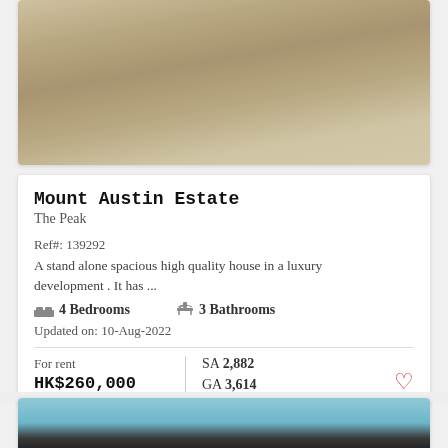[Figure (photo): Top portion of a property photo showing beige/tan carpet or grass texture]
Mount Austin Estate
The Peak
Ref#: 139292
A stand alone spacious high quality house in a luxury development . It has ...
4 Bedrooms   3 Bathrooms
Updated on: 10-Aug-2022
For rent
HK$260,000
SA 2,882
GA 3,614
[Figure (photo): Bottom portion of another property photo showing blue sky and glass/building facade]